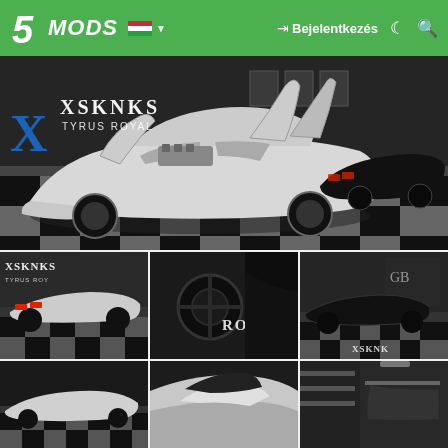5MODS | Bejelentkezés
[Figure (screenshot): GTA 5 mod screenshot: XSKNKS Tyrus Royal car mod - white supercar with open doors in a garage with checkered floor, black car in background]
[Figure (screenshot): Thumbnail: White XSKNKS car rear view in garage]
[Figure (screenshot): Thumbnail: Close-up of ROYAL text on dark car interior/door]
[Figure (screenshot): Thumbnail: Dark black car in garage with XSKNKS watermark]
[Figure (screenshot): Thumbnail row 2 left: car in garage scene]
[Figure (screenshot): Thumbnail row 2 middle: car close-up]
[Figure (screenshot): Thumbnail row 2 right: garage interior]